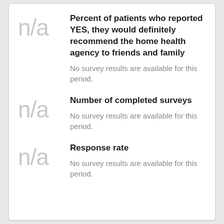n/a
Percent of patients who reported YES, they would definitely recommend the home health agency to friends and family
No survey results are available for this period.
n/a
Number of completed surveys
No survey results are available for this period.
n/a
Response rate
No survey results are available for this period.